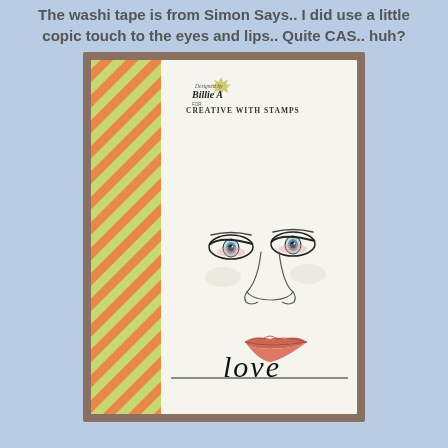The washi tape is from Simon Says.. I did use a little copic touch to the eyes and lips.. Quite CAS.. huh?
[Figure (photo): A handmade greeting card with a stamped woman's face (eyes, nose, lips) on white card stock with copic coloring on eyes and lips. The word 'love' in script runs across the bottom. Behind the white card is a striped washi tape panel in orange and green diagonal stripes. The card is propped on a wooden surface. In the upper left corner is a watermark: 'Designed by Billie A for Creative with Stamps' with a maple leaf logo.]